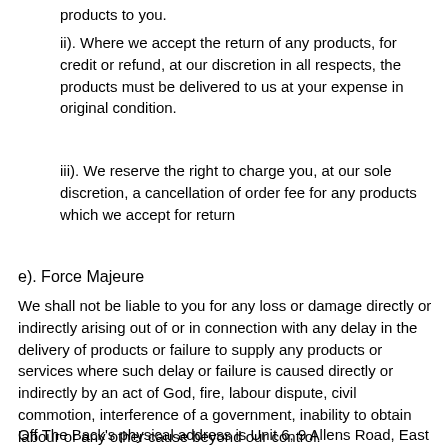products to you.
ii). Where we accept the return of any products, for credit or refund, at our discretion in all respects, the products must be delivered to us at your expense in original condition.
iii). We reserve the right to charge you, at our sole discretion, a cancellation of order fee for any products which we accept for return
e). Force Majeure
We shall not be liable to you for any loss or damage directly or indirectly arising out of or in connection with any delay in the delivery of products or failure to supply any products or services where such delay or failure is caused directly or indirectly by an act of God, fire, labour dispute, civil commotion, interference of a government, inability to obtain labour or any other cause beyond our control.
Off The Back's physical address is Unit 6, 9 Allens Road, East